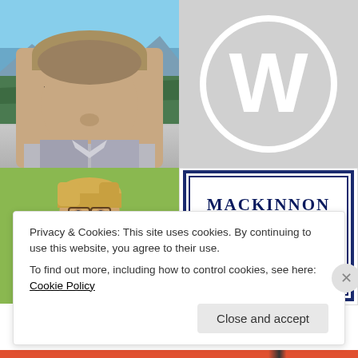[Figure (photo): Selfie of a middle-aged man with grey hair wearing sunglasses and a patterned jacket, outdoors with mountain and tree background]
[Figure (logo): WordPress logo: white W letter inside a white circle outline on grey background]
[Figure (illustration): Illustrated portrait of a young blonde male figure in a green jacket against a green background]
[Figure (logo): MacKinnon logo with navy blue border and large navy W letters, text MACKINNON at top]
Privacy & Cookies: This site uses cookies. By continuing to use this website, you agree to their use.
To find out more, including how to control cookies, see here: Cookie Policy
Close and accept